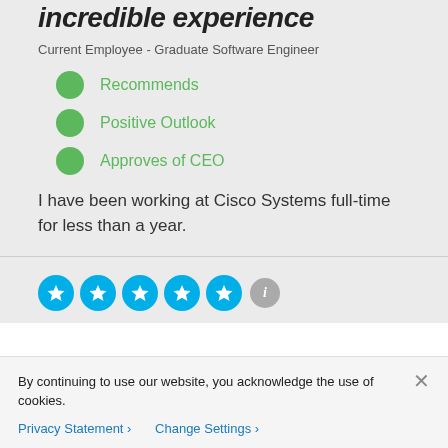incredible experience
Current Employee - Graduate Software Engineer
Recommends
Positive Outlook
Approves of CEO
I have been working at Cisco Systems full-time for less than a year.
[Figure (other): Five blue star rating circles with an info icon]
By continuing to use our website, you acknowledge the use of cookies.
Privacy Statement > Change Settings >